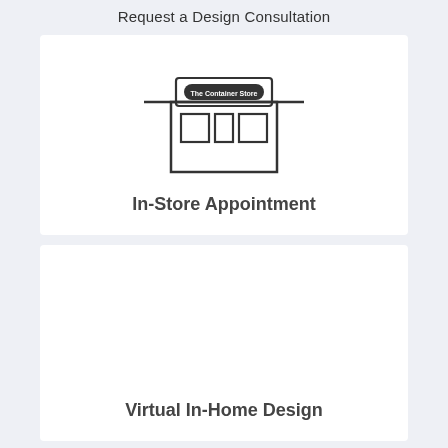Request a Design Consultation
[Figure (illustration): Line drawing icon of The Container Store storefront with sign, door, and two windows]
In-Store Appointment
Virtual In-Home Design